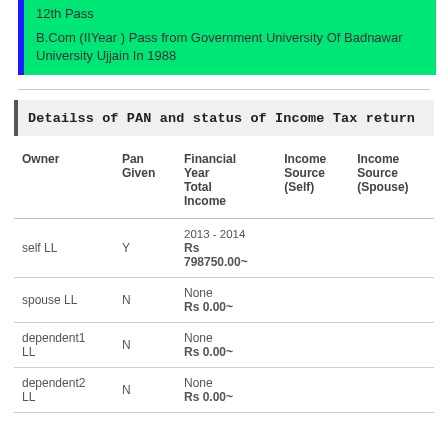12th Pass
B.Com (IIYear ) Pass from Government University Of Badnawar University Ujjain In 1988
Detailss of PAN and status of Income Tax return
| Owner | Pan Given | Financial Year Total Income | Income Source (Self) | Income Source (Spouse) |
| --- | --- | --- | --- | --- |
| self LL | Y | 2013 - 2014
Rs 798750.00~ |  |  |
| spouse LL | N | None
Rs 0.00~ |  |  |
| dependent1 LL | N | None
Rs 0.00~ |  |  |
| dependent2 LL | N | None
Rs 0.00~ |  |  |